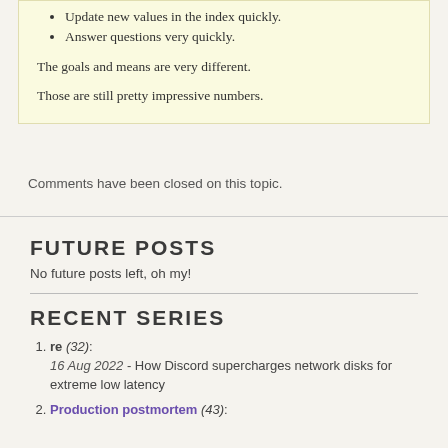Update new values in the index quickly.
Answer questions very quickly.
The goals and means are very different.
Those are still pretty impressive numbers.
Comments have been closed on this topic.
FUTURE POSTS
No future posts left, oh my!
RECENT SERIES
re (32): 16 Aug 2022 - How Discord supercharges network disks for extreme low latency
Production postmortem (43):